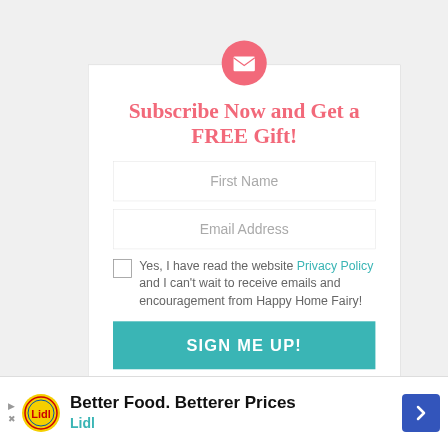[Figure (illustration): Pink circular icon with white envelope/mail symbol at the top of the subscription box]
Subscribe Now and Get a FREE Gift!
First Name
Email Address
Yes, I have read the website Privacy Policy and I can't wait to receive emails and encouragement from Happy Home Fairy!
SIGN ME UP!
Better Food. Betterer Prices
Lidl